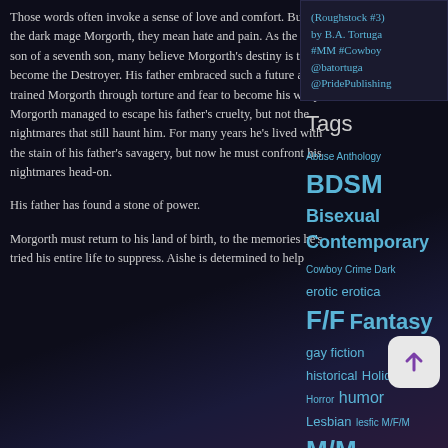Those words often invoke a sense of love and comfort. But for the dark mage Morgorth, they mean hate and pain. As the seventh son of a seventh son, many believe Morgorth's destiny is to become the Destroyer. His father embraced such a future and trained Morgorth through torture and fear to become his weapon. Morgorth managed to escape his father's cruelty, but not the nightmares that still haunt him. For many years he's lived with the stain of his father's savagery, but now he must confront his nightmares head-on.
His father has found a stone of power.
Morgorth must return to his land of birth, to the memories he's tried his entire life to suppress. Aishe is determined to help
(Roughstock #3) by B.A. Tortuga #MM #Cowboy @batortuga @PridePublishing
Tags
Abuse Anthology BDSM Bisexual Contemporary Cowboy Crime Dark erotic erotica F/F Fantasy gay fiction historical Holiday Horror humor Lesbian lesfic M/F/M M/M M/MF M/M/M M/MF Romance Menage Military